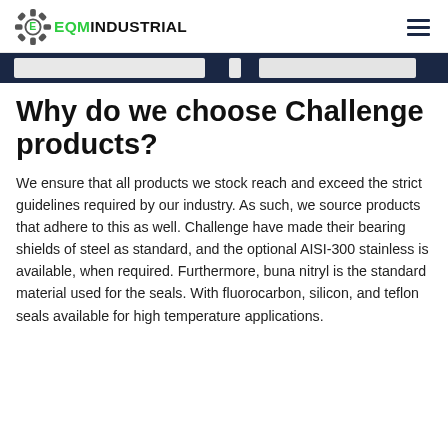EQM INDUSTRIAL
[Figure (illustration): Dark navy banner strip with white/light grey rectangular segments suggesting a search bar or navigation element]
Why do we choose Challenge products?
We ensure that all products we stock reach and exceed the strict guidelines required by our industry. As such, we source products that adhere to this as well. Challenge have made their bearing shields of steel as standard, and the optional AISI-300 stainless is available, when required. Furthermore, buna nitryl is the standard material used for the seals. With fluorocarbon, silicon, and teflon seals available for high temperature applications.